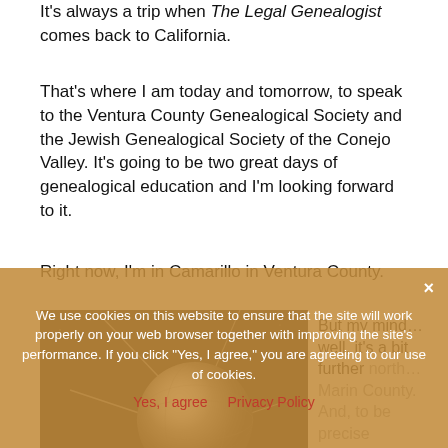It's always a trip when The Legal Genealogist comes back to California.
That's where I am today and tomorrow, to speak to the Ventura County Genealogical Society and the Jewish Genealogical Society of the Conejo Valley. It's going to be two great days of genealogical education and I'm looking forward to it.
Right now, I'm in Camarillo in Ventura County.
[Figure (photo): A Sputnik satellite replica — a shiny metallic sphere with thin antennae extending outward, photographed against a black background.]
But my mind… well, it's a bit further north… Marin County. And, to be precise
We use cookies on this website to ensure that the site will work properly on your web browser together with improving the site's performance. If you click "Yes, I agree," you are agreeing to our use of cookies.